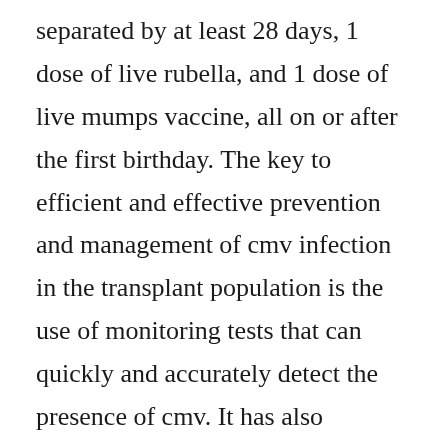separated by at least 28 days, 1 dose of live rubella, and 1 dose of live mumps vaccine, all on or after the first birthday. The key to efficient and effective prevention and management of cmv infection in the transplant population is the use of monitoring tests that can quickly and accurately detect the presence of cmv. It has also appendices, which discuss the collection of laboratory specimens, preservatives of stool sample, frequently used parasitological diagnostic methods and reagent preparation. Infectious complications in hematology patients repub